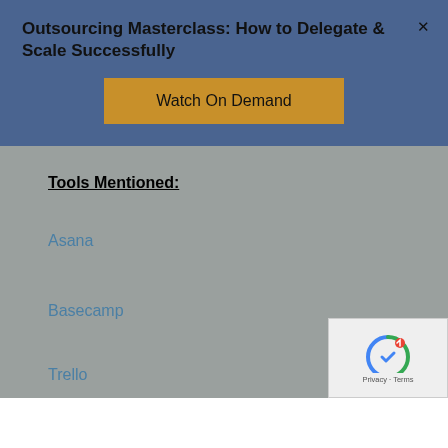Outsourcing Masterclass: How to Delegate & Scale Successfully
Watch On Demand
Tools Mentioned:
Asana
Basecamp
Trello